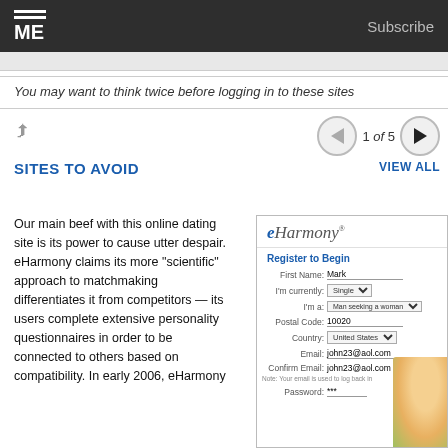ME Subscribe
You may want to think twice before logging in to these sites
SITES TO AVOID
Our main beef with this online dating site is its power to cause utter despair. eHarmony claims its more "scientific" approach to matchmaking differentiates it from competitors — its users complete extensive personality questionnaires in order to be connected to others based on compatibility. In early 2006, eHarmony
[Figure (screenshot): eHarmony registration form screenshot showing fields: First Name (Mark), I'm currently (Single), I'm a (Man seeking a woman), Postal Code (10020), Country (United States), Email (john23@aol.com), Confirm Email (john23@aol.com), Password, with a Register to Begin header and a partial image of a smiling woman]